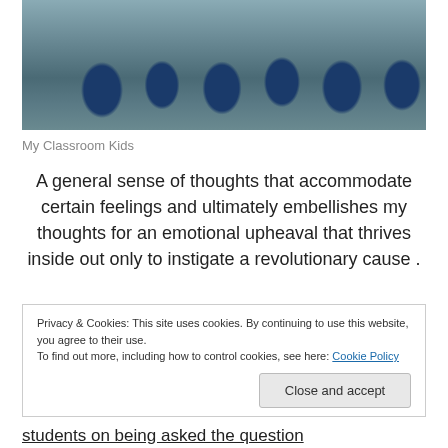[Figure (photo): Group of school children in blue uniforms sitting on the floor, some raising hands, eating from plates]
My Classroom Kids
A general sense of thoughts that accommodate certain feelings and ultimately embellishes my thoughts for an emotional upheaval that thrives inside out only to instigate a revolutionary cause .
Privacy & Cookies: This site uses cookies. By continuing to use this website, you agree to their use.
To find out more, including how to control cookies, see here: Cookie Policy
[Close and accept]
students on being asked the question